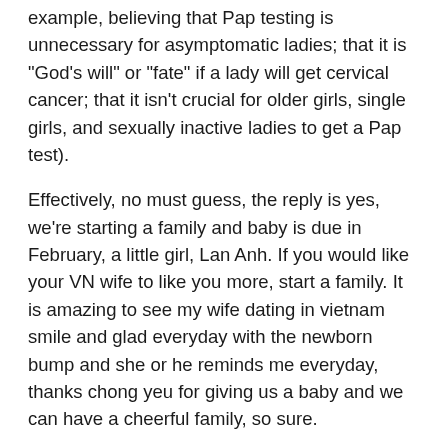example, believing that Pap testing is unnecessary for asymptomatic ladies; that it is "God's will" or "fate" if a lady will get cervical cancer; that it isn't crucial for older girls, single girls, and sexually inactive ladies to get a Pap test).
Effectively, no must guess, the reply is yes, we're starting a family and baby is due in February, a little girl, Lan Anh. If you would like your VN wife to like you more, start a family. It is amazing to see my wife dating in vietnam smile and glad everyday with the newborn bump and she or he reminds me everyday, thanks chong yeu for giving us a baby and we can have a cheerful family, so sure.
Male chivalry is still very a lot appreciated here with Vietnamese women. Try to not embarrass ladies with matters of an intimate nature. If in